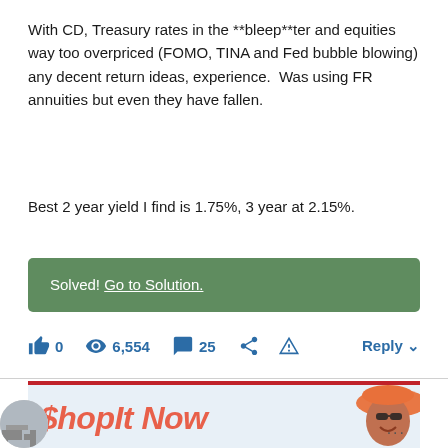With CD, Treasury rates in the **bleep**ter and equities way too overpriced (FOMO, TINA and Fed bubble blowing) any decent return ideas, experience.  Was using FR annuities but even they have fallen.
Best 2 year yield I find is 1.75%, 3 year at 2.15%.
Solved! Go to Solution.
[Figure (screenshot): Forum action bar with icons: thumbs up (0), eye/views (6,554), comment bubble (25), share, flag, and Reply button]
[Figure (photo): Advertisement banner reading '$hopIt Now' in coral-red italic text with a smiling woman wearing an orange wide-brim hat and sunglasses]